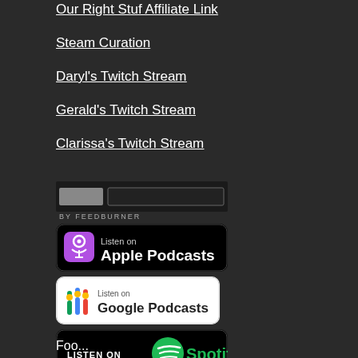Our Right Stuf Affiliate Link
Steam Curation
Daryl's Twitch Stream
Gerald's Twitch Stream
Clarissa's Twitch Stream
[Figure (logo): FeedBurner email subscription widget with input field and button, labeled BY FEEDBURNER]
[Figure (logo): Listen on Apple Podcasts badge - black rounded rectangle with purple podcast icon]
[Figure (logo): Listen on Google Podcasts badge - white rounded rectangle with colorful dots icon]
[Figure (logo): Listen on Spotify badge - black rounded rectangle with green Spotify logo]
[Figure (logo): Listen on Stitcher badge - white rectangle with colorful stripes logo]
[Figure (logo): Add to My Yahoo! badge - white rectangle with blue plus icon]
Foo...